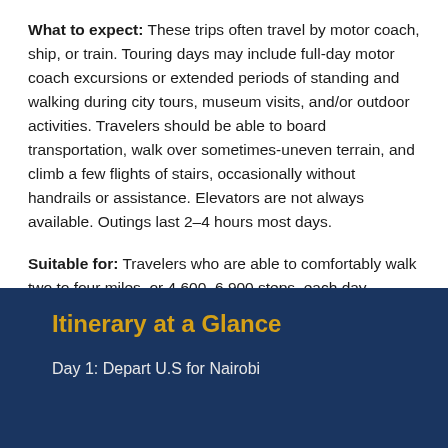What to expect: These trips often travel by motor coach, ship, or train. Touring days may include full-day motor coach excursions or extended periods of standing and walking during city tours, museum visits, and/or outdoor activities. Travelers should be able to board transportation, walk over sometimes-uneven terrain, and climb a few flights of stairs, occasionally without handrails or assistance. Elevators are not always available. Outings last 2–4 hours most days.
Suitable for: Travelers who are able to comfortably walk two to four miles, or 4,600–6,900 steps, each day.
Itinerary at a Glance
Day 1: Depart U.S for Nairobi